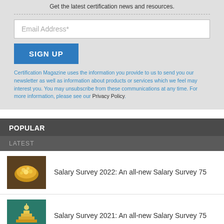Get the latest certification news and resources.
Email Address*
SIGN UP
Certification Magazine uses the information you provide to us to send you our newsletter as well as information about products or services which we feel may interest you. You may unsubscribe from these communications at any time. For more information, please see our Privacy Policy.
POPULAR
LATEST
Salary Survey 2022: An all-new Salary Survey 75
Salary Survey 2021: An all-new Salary Survey 75
Please take our 2022 Cloud Computing Certification Survey